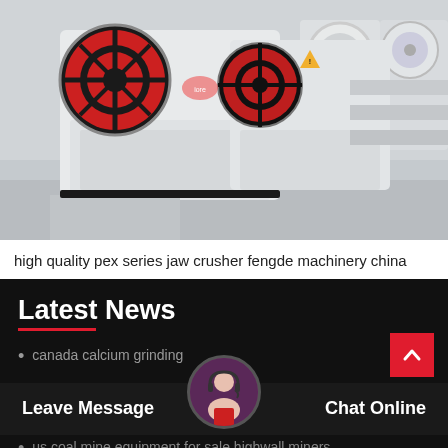[Figure (photo): Multiple white and red jaw crushers (pex series) lined up in a factory/warehouse, photographed from a low angle showing the large red flywheels and white machine bodies.]
high quality pex series jaw crusher fengde machinery china
Latest News
canada calcium grinding
us coal mine equipment for sale highwall miners
Leave Message
Chat Online